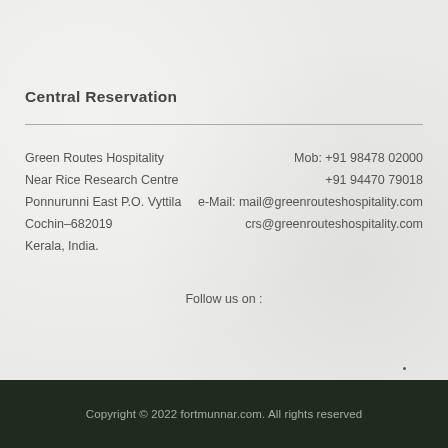Central Reservation
Green Routes Hospitality
Near Rice Research Centre
Ponnurunni East P.O. Vyttila
Cochin–682019
Kerala, India.
Mob: +91 98478 02000
+91 94470 79018
e-Mail: mail@greenrouteshospitality.com
crs@greenrouteshospitality.com
Follow us on :
Copyright © 2022 fortmunnar.com. All rights reserved